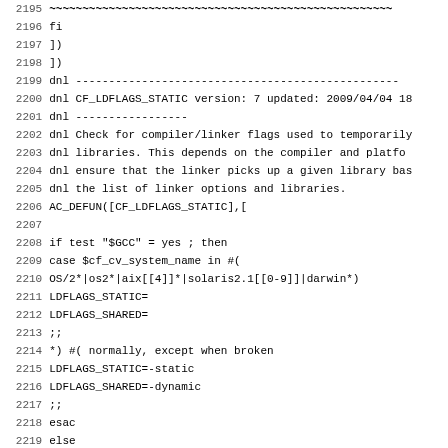[Figure (screenshot): Source code listing showing shell/autoconf script lines 2195-2227, monospace font with line numbers on the left. Content includes fi, dnl comments, AC_DEFUN macro, and shell case statements for LDFLAGS_STATIC and LDFLAGS_SHARED.]